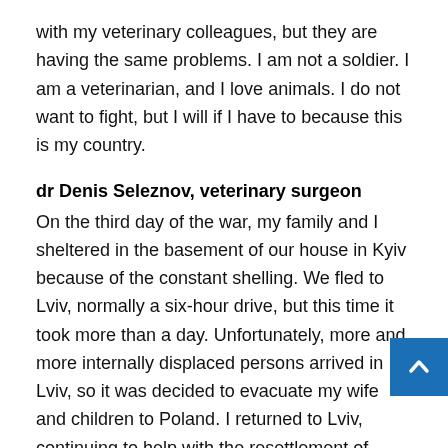with my veterinary colleagues, but they are having the same problems. I am not a soldier. I am a veterinarian, and I love animals. I do not want to fight, but I will if I have to because this is my country.
dr Denis Seleznov, veterinary surgeon
On the third day of the war, my family and I sheltered in the basement of our house in Kyiv because of the constant shelling. We fled to Lviv, normally a six-hour drive, but this time it took more than a day. Unfortunately, more and more internally displaced persons arrived in Lviv, so it was decided to evacuate my wife and children to Poland. I returned to Lviv, continuing to help with the resettlement of refugees and driving women and children to the Polish border. When my car no longer worked, I helped sandbag the city hospitals and sort the medicines arriving from the West. I also help my veterinary colleagues in Lviv, doing what I can. I don't want anyone to